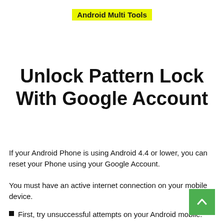Android Multi Tools
Unlock Pattern Lock With Google Account
If your Android Phone is using Android 4.4 or lower, you can reset your Phone using your Google Account.
You must have an active internet connection on your mobile device.
First, try unsuccessful attempts on your Android mobile.